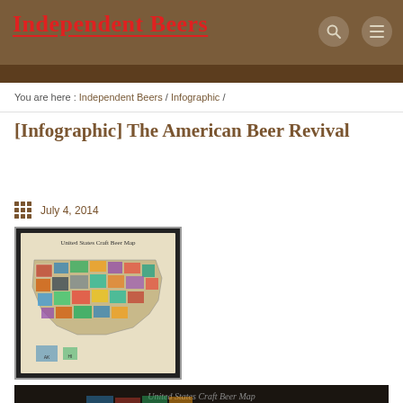Independent Beers
You are here : Independent Beers / Infographic /
[Infographic] The American Beer Revival
July 4, 2014
[Figure (map): United States Craft Beer Map thumbnail showing a colorful map of the US with craft brewery logos filling each state]
[Figure (map): United States Craft Beer Map larger image showing bottom portion of the infographic, with 'LYSIAN' visible on the left side and 'United States Craft Beer Map' text at top]